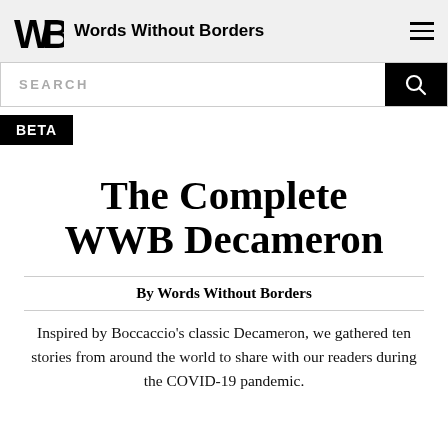Words Without Borders
The Complete WWB Decameron
By Words Without Borders
Inspired by Boccaccio's classic Decameron, we gathered ten stories from around the world to share with our readers during the COVID-19 pandemic.